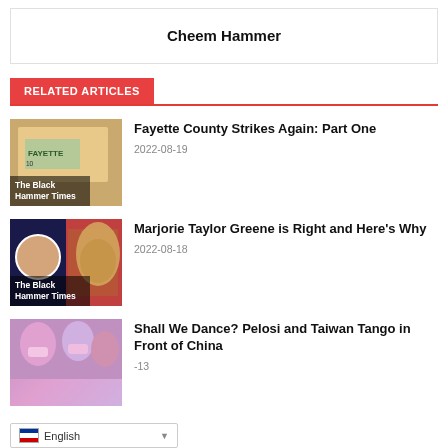Cheem Hammer
RELATED ARTICLES
[Figure (photo): Thumbnail image for Fayette County article with map overlay, labeled 'The Black Hammer Times']
Fayette County Strikes Again: Part One
2022-08-19
[Figure (photo): Thumbnail image for Marjorie Taylor Greene article with political figures, labeled 'The Black Hammer Times']
Marjorie Taylor Greene is Right and Here's Why
2022-08-18
[Figure (photo): Thumbnail image for Pelosi Taiwan Tango article with masked figures]
Shall We Dance? Pelosi and Taiwan Tango in Front of China
-13
English